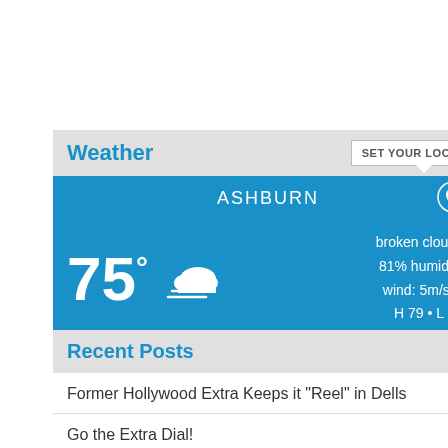Weather
[Figure (infographic): Weather widget showing ASHBURN location with 75° temperature, broken clouds icon, 81% humidity, wind: 5m/s S, H 79 • L 72]
Recent Posts
Former Hollywood Extra Keeps it “Reel” in Dells
Go the Extra Dial!